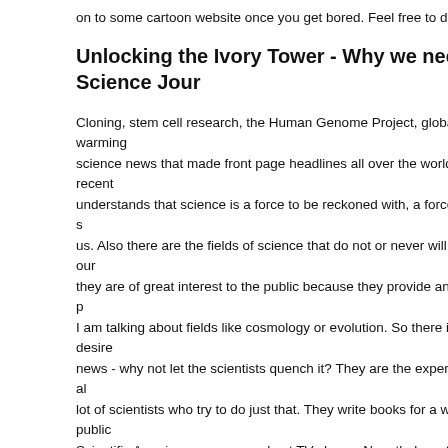on to some cartoon website once you get bored. Feel free to do so.
Unlocking the Ivory Tower - Why we need Science Jour
Cloning, stem cell research, the Human Genome Project, global warming science news that made front page headlines all over the world in recent understands that science is a force to be reckoned with, a force that will s us. Also there are the fields of science that do not or never will affect our they are of great interest to the public because they provide answers to p I am talking about fields like cosmology or evolution. So there is a desire news - why not let the scientists quench it? They are the experts, after al lot of scientists who try to do just that. They write books for a wider public Scientific American, some even host TV shows. Nonetheless, they are o scientists just do what they are best at: research. And they come up with on a daily basis.
Just too bad that nobody takes any notice, because the average person or Nature. They do not even know that such magazines exist. The avera mom. She has always been a housewife in Germany, her education in th beyond 8th grade. Though she sometimes wonders how the universe ca whether it would be possible to clone our family cat, she would never rea Hawking or a copy of the German Scientific American. People like my mo vast majority of our societies and to reach them, scientists need the help the journalist. I like to compare my trade to that of an interpreter. It is